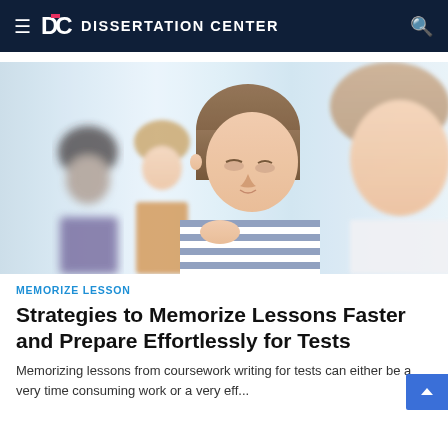≡ DC DISSERTATION CENTER 🔍
[Figure (photo): Students studying together in a classroom, looking down at their work. Multiple students visible, one wearing a blue striped top in the foreground. Light blue curtains in the background.]
MEMORIZE LESSON
Strategies to Memorize Lessons Faster and Prepare Effortlessly for Tests
Memorizing lessons from coursework writing for tests can either be a very time consuming work or a very eff...